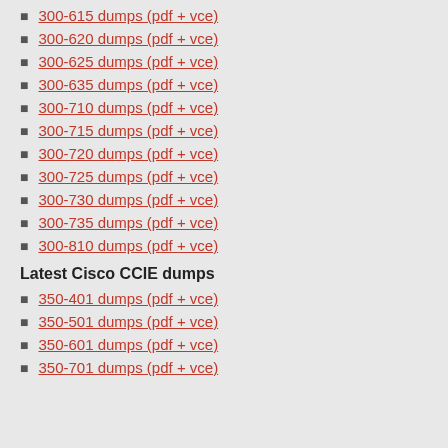300-615 dumps (pdf + vce)
300-620 dumps (pdf + vce)
300-625 dumps (pdf + vce)
300-635 dumps (pdf + vce)
300-710 dumps (pdf + vce)
300-715 dumps (pdf + vce)
300-720 dumps (pdf + vce)
300-725 dumps (pdf + vce)
300-730 dumps (pdf + vce)
300-735 dumps (pdf + vce)
300-810 dumps (pdf + vce)
Latest Cisco CCIE dumps
350-401 dumps (pdf + vce)
350-501 dumps (pdf + vce)
350-601 dumps (pdf + vce)
350-701 dumps (pdf + vce)